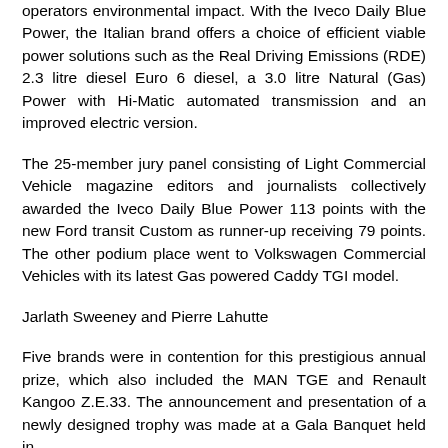operators environmental impact. With the Iveco Daily Blue Power, the Italian brand offers a choice of efficient viable power solutions such as the Real Driving Emissions (RDE) 2.3 litre diesel Euro 6 diesel, a 3.0 litre Natural (Gas) Power with Hi-Matic automated transmission and an improved electric version.
The 25-member jury panel consisting of Light Commercial Vehicle magazine editors and journalists collectively awarded the Iveco Daily Blue Power 113 points with the new Ford transit Custom as runner-up receiving 79 points. The other podium place went to Volkswagen Commercial Vehicles with its latest Gas powered Caddy TGI model.
Jarlath Sweeney and Pierre Lahutte
Five brands were in contention for this prestigious annual prize, which also included the MAN TGE and Renault Kangoo Z.E.33. The announcement and presentation of a newly designed trophy was made at a Gala Banquet held in